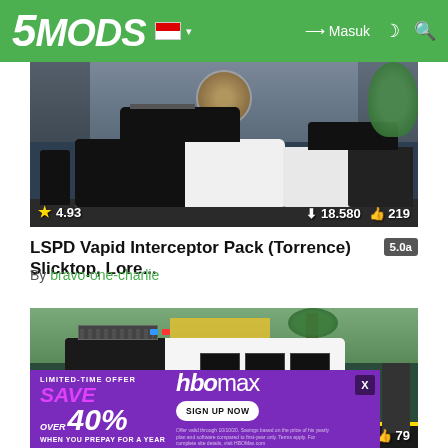5MODS | Masuk
[Figure (screenshot): GTA V police cars parked outside LAPD-style building with officers, star rating 4.93, 18,580 downloads, 219 likes]
LSPD Vapid Interceptor Pack (Torrence) Slicktop, Lore... 5.0a
By bravo-one-charlie
[Figure (screenshot): GTA V police van (black and white) at crime scene, star rating 5.0, 79 likes, with HBO Max advertisement overlay]
[Figure (advertisement): HBO Max limited-time offer: Save over 40% when you prepay for a year. Sign up now.]